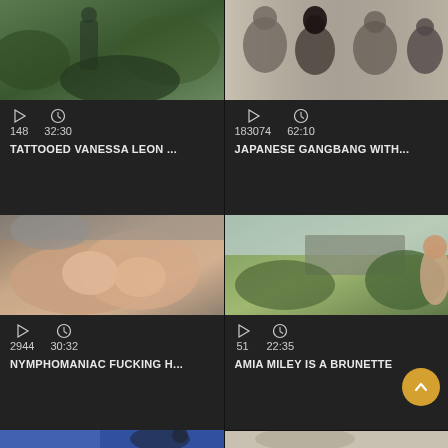[Figure (screenshot): Video thumbnail grid showing adult video website with 4 video cards and 2 partial cards at bottom. Each card has a thumbnail image, play count, duration, and title.]
148  32:30  TATTOOED VANESSA LEON ...
183074  62:10  JAPANESE GANGBANG WITH...
2944  30:32  NYMPHOMANIAC FUCKING H...
51  22:35  AMIA MILEY IS A BRUNETTE